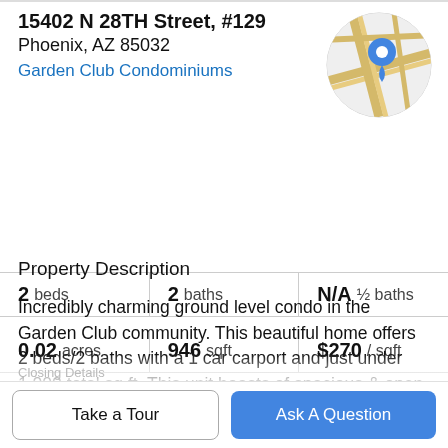15402 N 28TH Street, #129
Phoenix, AZ 85032
Garden Club Condominiums
[Figure (map): Circular map thumbnail with street/road overlay and blue location pin marker]
|  |  |  |
| --- | --- | --- |
| 2 beds | 2 baths | N/A ½ baths |
| 0.02 acres | 946 sqft | $270 / sqft |
Property Description
Incredibly charming ground level condo in the Garden Club community. This beautiful home offers 2 beds/2 baths with a 1 car carport and just under 1,000 total sq ft. This unit boasts of spacious & open floor plan with majority of square footage being in common areas. Wonderful space